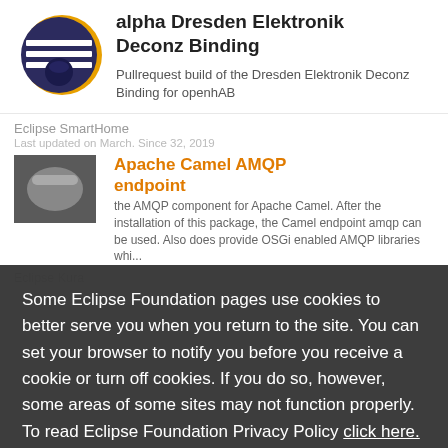[Figure (logo): Eclipse IDE logo: dark purple circle with horizontal white stripes and orange crescent]
alpha Dresden Elektronik Deconz Binding
Pullrequest build of the Dresden Elektronik Deconz Binding for openhAB
Eclipse SmartHome
Last updated on March. Since 32, 2019
[Figure (logo): Apache Camel logo]
Apache Camel AMQP endpoint
the AMQP component for Apache Camel. After the installation of this package, the Camel endpoint amqp can be used. Also does provide OSGi enabled AMQP libraries whi...
Eclipse Kura
Some Eclipse Foundation pages use cookies to better serve you when you return to the site. You can set your browser to notify you before you receive a cookie or turn off cookies. If you do so, however, some areas of some sites may not function properly. To read Eclipse Foundation Privacy Policy click here.